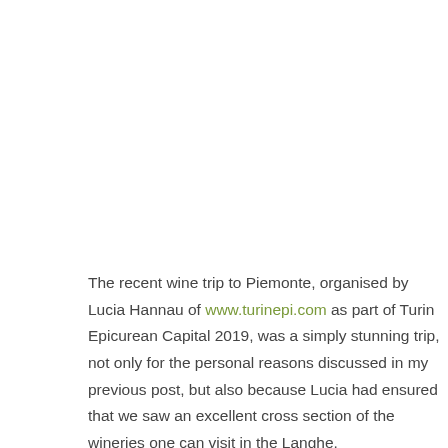The recent wine trip to Piemonte, organised by Lucia Hannau of www.turinepi.com as part of Turin Epicurean Capital 2019, was a simply stunning trip, not only for the personal reasons discussed in my previous post, but also because Lucia had ensured that we saw an excellent cross section of the wineries one can visit in the Langhe.